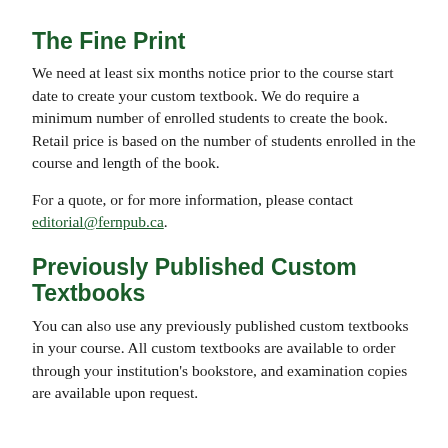The Fine Print
We need at least six months notice prior to the course start date to create your custom textbook. We do require a minimum number of enrolled students to create the book. Retail price is based on the number of students enrolled in the course and length of the book.
For a quote, or for more information, please contact editorial@fernpub.ca.
Previously Published Custom Textbooks
You can also use any previously published custom textbooks in your course. All custom textbooks are available to order through your institution's bookstore, and examination copies are available upon request.